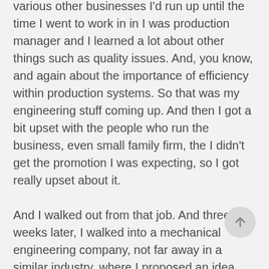various other businesses I'd run up until the time I went to work in in I was production manager and I learned a lot about other things such as quality issues. And, you know, and again about the importance of efficiency within production systems. So that was my engineering stuff coming up. And then I got a bit upset with the people who run the business, even small family firm, the I didn't get the promotion I was expecting, so I got really upset about it.

And I walked out from that job. And three weeks later, I walked into a mechanical engineering company, not far away in a similar industry, where I proposed an idea and a concept with them, which they ran with. And then they le...